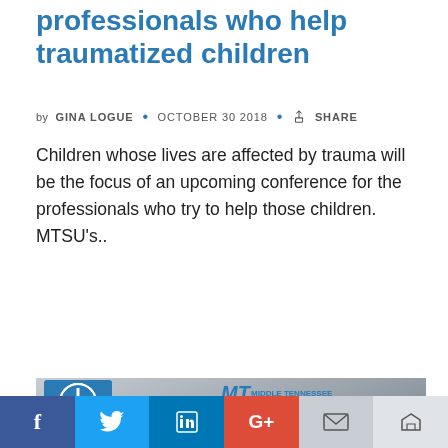professionals who help traumatized children
by GINA LOGUE • OCTOBER 30 2018 • SHARE
Children whose lives are affected by trauma will be the focus of an upcoming conference for the professionals who try to help those children. MTSU's..
Read More
[Figure (photo): Photo banner showing USA Mental Health First Aid logo, Middle Tennessee State University logo, CHHS logo, and a child sitting against a wall]
Facebook Twitter LinkedIn Google+ Email Crown